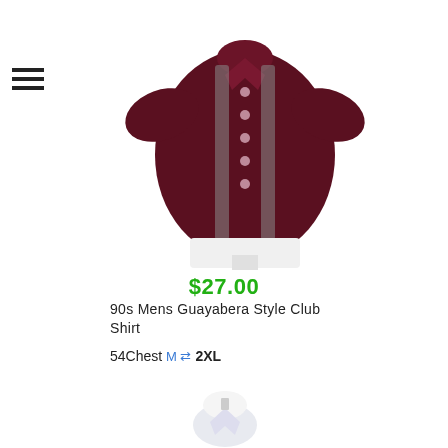[Figure (photo): Hamburger menu icon with three horizontal lines]
[Figure (photo): Maroon/dark red short-sleeve men's guayabera style club shirt on a mannequin, featuring two vertical patterned/floral trim strips on the front with button placket]
$27.00
90s Mens Guayabera Style Club Shirt
54Chest M ⇄ 2XL
[Figure (photo): Partial view of a second shirt listing at the bottom — white or light-colored shirt on a mannequin, partially cropped]